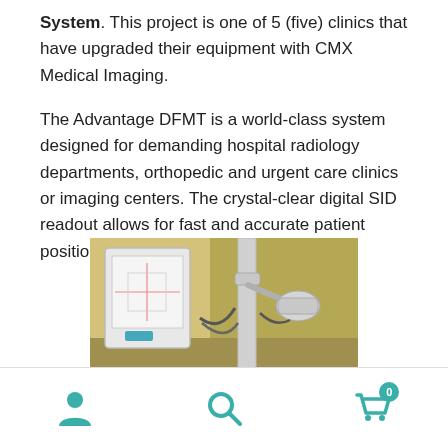System. This project is one of 5 (five) clinics that have upgraded their equipment with CMX Medical Imaging.
The Advantage DFMT is a world-class system designed for demanding hospital radiology departments, orthopedic and urgent care clinics or imaging centers. The crystal-clear digital SID readout allows for fast and accurate patient positioning.
[Figure (photo): Photo of a medical X-ray imaging system with a digital flat panel detector on the left and a robotic arm/tube on the right, set in a clinical room with yellow-green walls.]
Navigation bar with user, search, and cart (0) icons